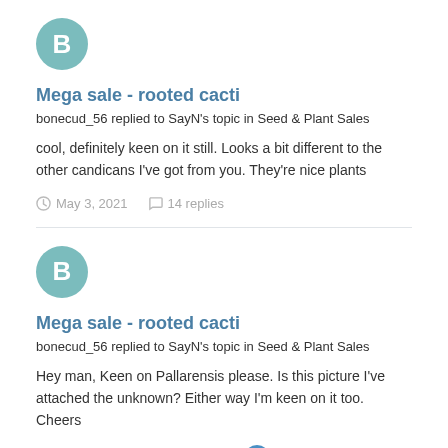[Figure (illustration): Circular teal avatar with white letter B]
Mega sale - rooted cacti
bonecud_56 replied to SayN's topic in Seed & Plant Sales
cool, definitely keen on it still. Looks a bit different to the other candicans I've got from you. They're nice plants
May 3, 2021   14 replies
[Figure (illustration): Circular teal avatar with white letter B]
Mega sale - rooted cacti
bonecud_56 replied to SayN's topic in Seed & Plant Sales
Hey man, Keen on Pallarensis please. Is this picture I've attached the unknown? Either way I'm keen on it too. Cheers
May 3, 2021   14 replies   1
[Figure (illustration): Circular teal avatar with white letter B (partially visible)]